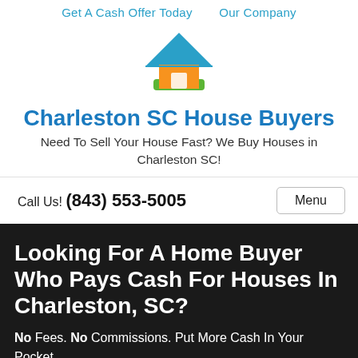Get A Cash Offer Today   Our Company
[Figure (logo): House logo icon with blue roof, orange body, and green base]
Charleston SC House Buyers
Need To Sell Your House Fast? We Buy Houses in Charleston SC!
Call Us! (843) 553-5005   Menu
Looking For A Home Buyer Who Pays Cash For Houses In Charleston, SC?
No Fees. No Commissions. Put More Cash In Your Pocket.
You'll Get A Fair Offer – You Choose The